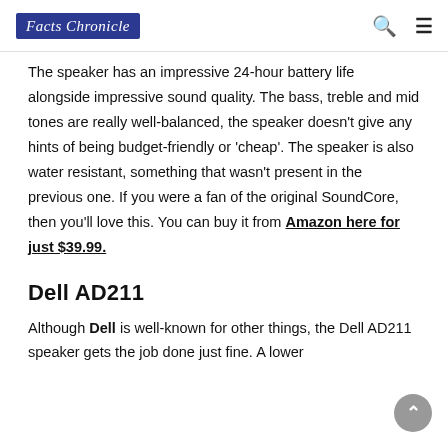Facts Chronicle
The speaker has an impressive 24-hour battery life alongside impressive sound quality. The bass, treble and mid tones are really well-balanced, the speaker doesn't give any hints of being budget-friendly or 'cheap'. The speaker is also water resistant, something that wasn't present in the previous one. If you were a fan of the original SoundCore, then you'll love this. You can buy it from Amazon here for just $39.99.
Dell AD211
Although Dell is well-known for other things, the Dell AD211 speaker gets the job done just fine. A lower